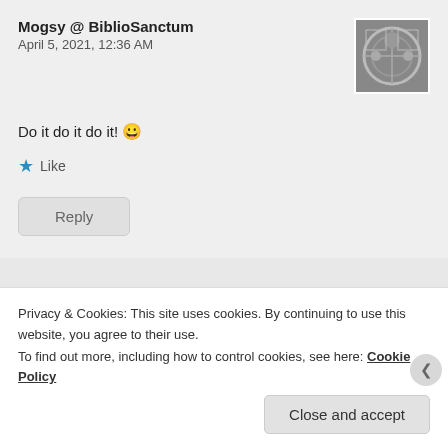Mogsy @ BiblioSanctum
April 5, 2021, 12:36 AM
[Figure (photo): Avatar image for Mogsy - black and white decorative pattern]
Do it do it do it! 😀
Like
Reply
Nancy
March 30, 2021, 9:46 AM
[Figure (photo): Avatar photo of Nancy - woman with long dark curly hair smiling]
Privacy & Cookies: This site uses cookies. By continuing to use this website, you agree to their use.
To find out more, including how to control cookies, see here: Cookie Policy
Close and accept